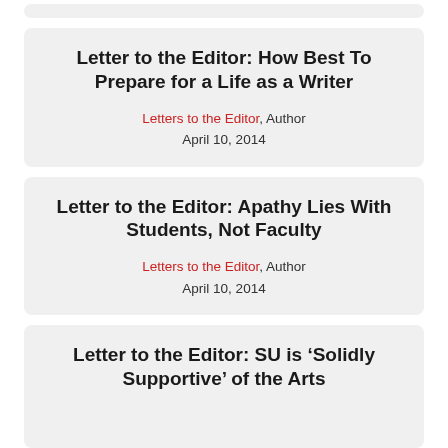Letter to the Editor: How Best To Prepare for a Life as a Writer
Letters to the Editor, Author
April 10, 2014
Letter to the Editor: Apathy Lies With Students, Not Faculty
Letters to the Editor, Author
April 10, 2014
Letter to the Editor: SU is ‘Solidly Supportive’ of the Arts